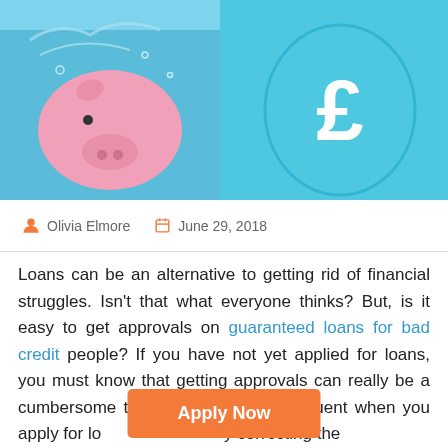[Figure (photo): Hero image split in two halves: left side shows a pink piggy bank submerged underwater with blue water splashing around it; right side shows a light blue background with a pound sterling (£) symbol inside an oval outline.]
Olivia Elmore   June 29, 2018
Loans can be an alternative to getting rid of financial struggles. Isn't that what everyone thinks? But, is it easy to get approvals on guaranteed loans for bad credit people? If you have not yet applied for loans, you must know that getting approvals can really be a cumbersome task. Rejections are frequent when you apply for loans, by correcting the
Apply Now